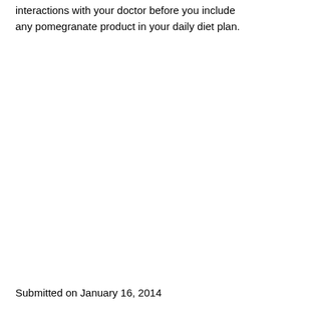interactions with your doctor before you include any pomegranate product in your daily diet plan.
Submitted on January 16, 2014